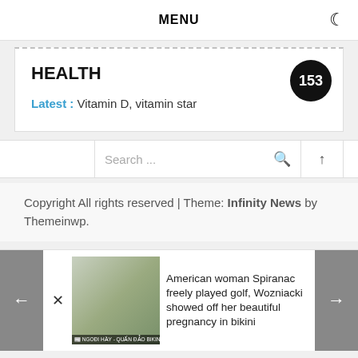MENU
HEALTH
Latest : Vitamin D, vitamin star
Search ...
Copyright All rights reserved | Theme: Infinity News by Themeinwp.
American woman Spiranac freely played golf, Wozniacki showed off her beautiful pregnancy in bikini